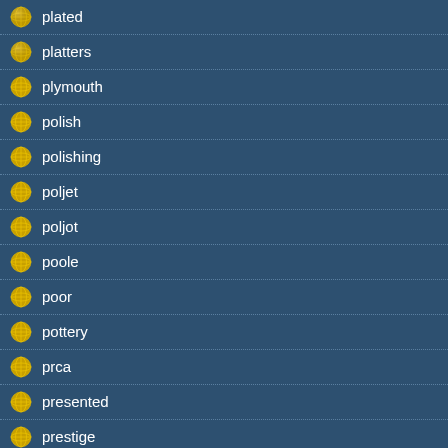plated
platters
plymouth
polish
polishing
poljet
poljot
poole
poor
pottery
prca
presented
prestige
pretty
pricing